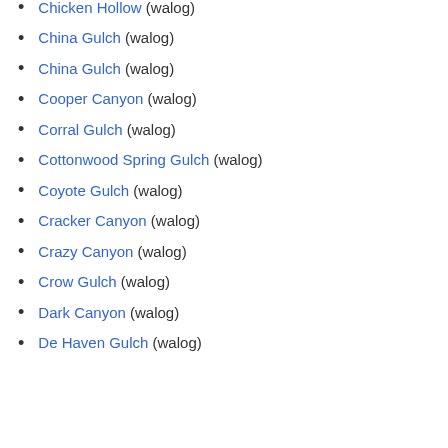Chicken Hollow (walog)
China Gulch (walog)
China Gulch (walog)
Cooper Canyon (walog)
Corral Gulch (walog)
Cottonwood Spring Gulch (walog)
Coyote Gulch (walog)
Cracker Canyon (walog)
Crazy Canyon (walog)
Crow Gulch (walog)
Dark Canyon (walog)
De Haven Gulch (walog)